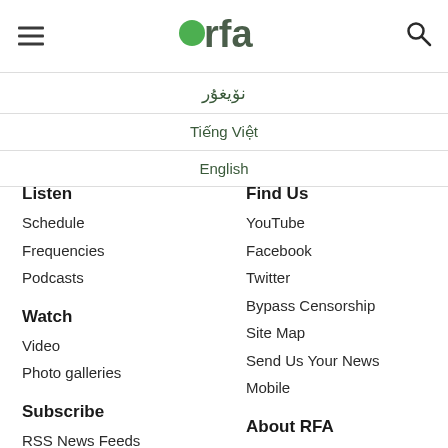RFA - Radio Free Asia
نۆيغۇر
Tiếng Việt
English
Listen
Schedule
Frequencies
Podcasts
Watch
Video
Photo galleries
Subscribe
RSS News Feeds
Email Alerts
Find Us
YouTube
Facebook
Twitter
Bypass Censorship
Site Map
Send Us Your News
Mobile
About RFA
Our Mission
Help